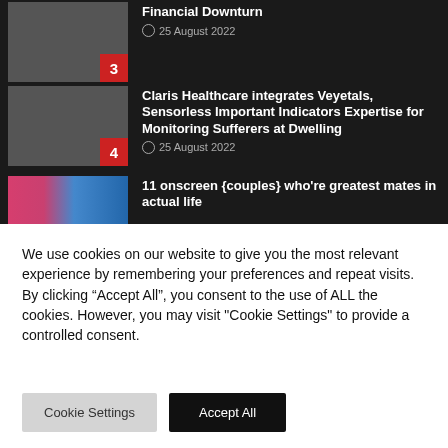Financial Downturn – 25 August 2022 (item 3)
Claris Healthcare integrates Veyetals, Sensorless Important Indicators Expertise for Monitoring Sufferers at Dwelling – 25 August 2022 (item 4)
11 onscreen {couples} who're greatest mates in actual life (item 5)
We use cookies on our website to give you the most relevant experience by remembering your preferences and repeat visits. By clicking “Accept All”, you consent to the use of ALL the cookies. However, you may visit "Cookie Settings" to provide a controlled consent.
Cookie Settings | Accept All